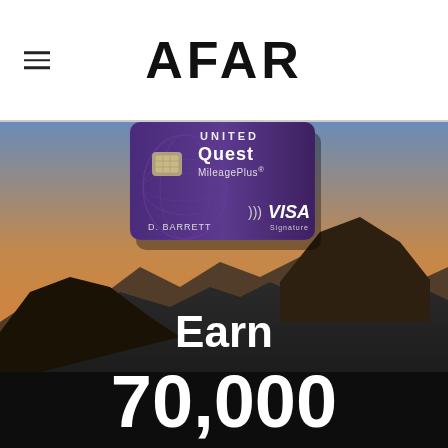AFAR
[Figure (photo): United Quest MileagePlus Visa Signature credit card (purple) held above a dramatic mountain/rock landscape at dusk with orange and blue sky. Overlay text reads 'Earn 70,000' miles promotional advertisement for AFAR media.]